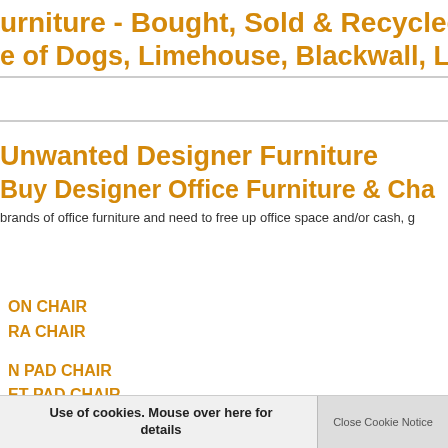urniture - Bought, Sold & Recycled ... e of Dogs, Limehouse, Blackwall, L...
Unwanted Designer Furniture
Buy Designer Office Furniture & Cha...
brands of office furniture and need to free up office space and/or cash, g...
ON CHAIR
RA CHAIR
N PAD CHAIR
ET PAD CHAIR
RA CHAIR
Use of cookies. Mouse over here for details